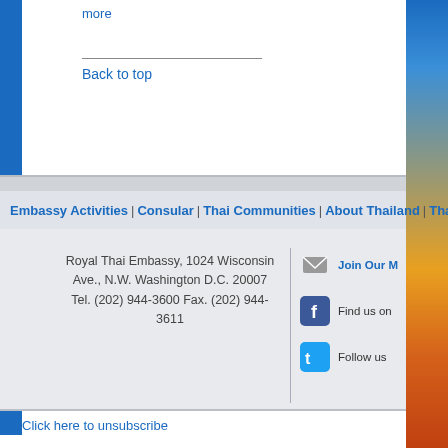more
Back to top
Embassy Activities | Consular | Thai Communities | About Thailand | Thai...
Royal Thai Embassy, 1024 Wisconsin Ave., N.W. Washington D.C. 20007 Tel. (202) 944-3600 Fax. (202) 944-3611
Join Our M...
Find us on...
Follow us...
Click here to unsubscribe